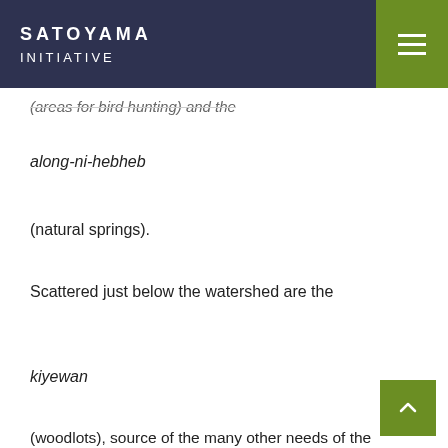SATOYAMA INITIATIVE
(areas for bird hunting) and the
along-ni-hebheb
(natural springs).
Scattered just below the watershed are the
kiyewan
(woodlots), source of the many other needs of the community such as timber, firewood, food, medicinal and pesticidal/botanical plants.  Below the kiyewan are the